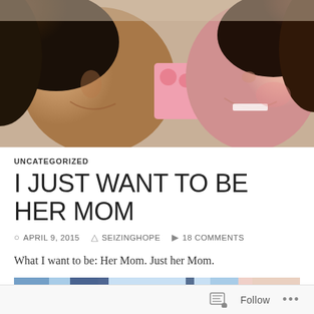[Figure (photo): Selfie photo of a woman and a young girl cheek to cheek, with a pink patterned item visible between them. The woman is on the left and the smiling child is on the right.]
UNCATEGORIZED
I JUST WANT TO BE HER MOM
APRIL 9, 2015  SEIZINGHOPE  18 COMMENTS
What I want to be: Her Mom. Just her Mom.
[Figure (photo): Partial photo showing what appears to be a light blue background with dark figure silhouettes and a pink/peach element on the right side.]
Follow ...